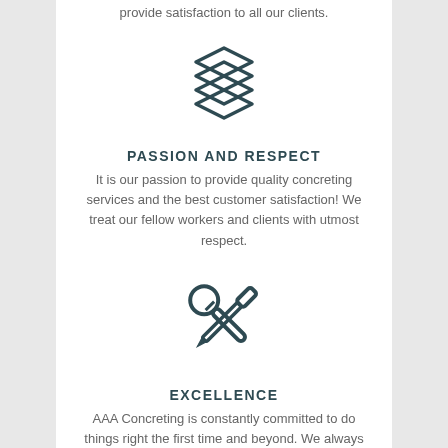provide satisfaction to all our clients.
[Figure (illustration): Stacked layers icon (four diamond/rhombus shapes stacked vertically), dark teal color]
PASSION AND RESPECT
It is our passion to provide quality concreting services and the best customer satisfaction! We treat our fellow workers and clients with utmost respect.
[Figure (illustration): Crossed wrench and screwdriver/pen tool icon, dark teal color]
EXCELLENCE
AAA Concreting is constantly committed to do things right the first time and beyond. We always look for opportunities to develop our services.